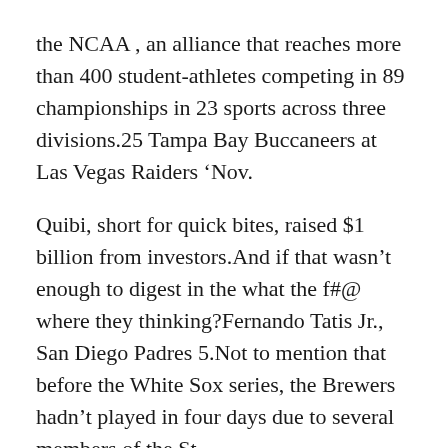the NCAA , an alliance that reaches more than 400 student-athletes competing in 89 championships in 23 sports across three divisions.25 Tampa Bay Buccaneers at Las Vegas Raiders ‘Nov.
Quibi, short for quick bites, raised $1 billion from investors.And if that wasn’t enough to digest in the what the f#@ where they thinking?Fernando Tatis Jr., San Diego Padres 5.Not to mention that before the White Sox series, the Brewers hadn’t played in four days due to several members of the St.
I think they played better as a defensive secondary than maybe what we gave them credit for.Anthony Rizzo, Chicago Cubs 14.3 TBD Highest-Paid Athletes 1.New York Jets NFL $3B 20.